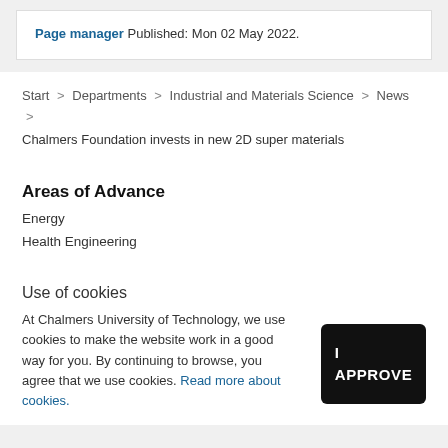Page manager Published: Mon 02 May 2022.
Start > Departments > Industrial and Materials Science > News > Chalmers Foundation invests in new 2D super materials
Areas of Advance
Energy
Health Engineering
Use of cookies
At Chalmers University of Technology, we use cookies to make the website work in a good way for you. By continuing to browse, you agree that we use cookies. Read more about cookies.